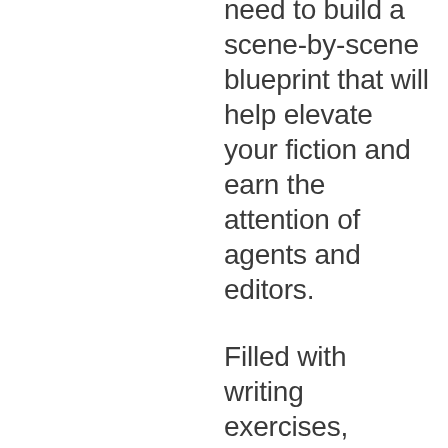need to build a scene-by-scene blueprint that will help elevate your fiction and earn the attention of agents and editors.
Filled with writing exercises, plotting templates, and expert advice, “Plot Perfect” helps you dive into the intricacies of